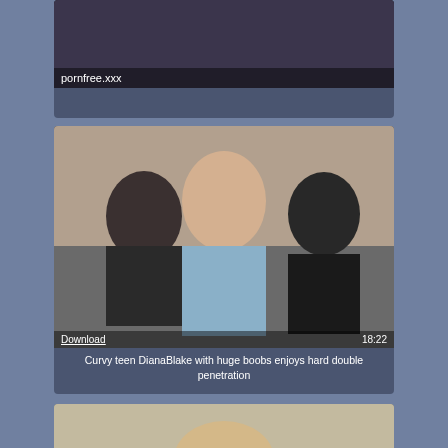[Figure (screenshot): Top video thumbnail card showing adult content, partially cropped at top, with watermark 'pornfree.xxx']
[Figure (screenshot): Middle video thumbnail showing three people on a couch, with Download link and 18:22 duration overlay]
Curvy teen DianaBlake with huge boobs enjoys hard double penetration
[Figure (screenshot): Bottom video thumbnail partially visible, cropped at bottom of page]